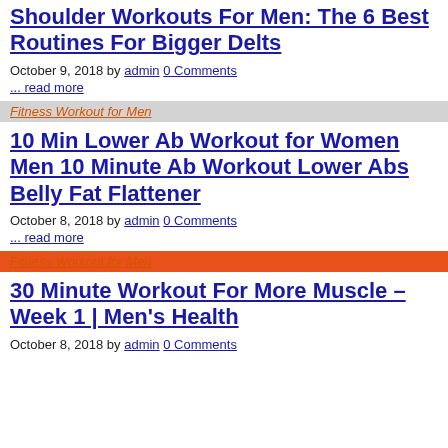Shoulder Workouts For Men: The 6 Best Routines For Bigger Delts
October 9, 2018 by admin 0 Comments
... read more
Fitness Workout for Men
10 Min Lower Ab Workout for Women Men 10 Minute Ab Workout Lower Abs Belly Fat Flattener
October 8, 2018 by admin 0 Comments
... read more
Fitness Workout for Men
30 Minute Workout For More Muscle – Week 1 | Men's Health
October 8, 2018 by admin 0 Comments